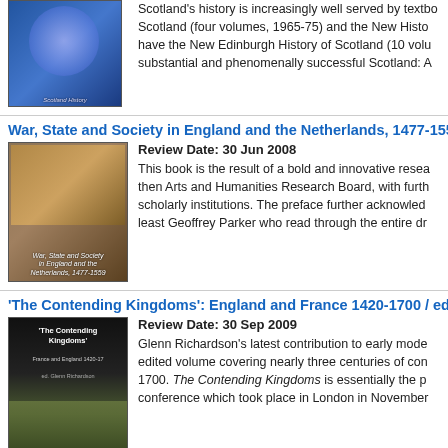[Figure (photo): Book cover for a Scotland history volume, blue toned]
Scotland's history is increasingly well served by textbooks. Scotland (four volumes, 1965-75) and the New History have the New Edinburgh History of Scotland (10 volumes) substantial and phenomenally successful Scotland: A
War, State and Society in England and the Netherlands, 1477-155
Review Date: 30 Jun 2008
[Figure (photo): Book cover for War, State and Society in England and the Netherlands, 1477-1559, brownish/orange battle scene]
This book is the result of a bold and innovative research then Arts and Humanities Research Board, with further scholarly institutions. The preface further acknowledged at least Geoffrey Parker who read through the entire dr
'The Contending Kingdoms': England and France 1420-1700 / ed.
Review Date: 30 Sep 2009
[Figure (photo): Book cover for The Contending Kingdoms, dark cover with aerial landscape]
Glenn Richardson's latest contribution to early modern history edited volume covering nearly three centuries of conflict 1700. The Contending Kingdoms is essentially the proceedings of a conference which took place in London in November